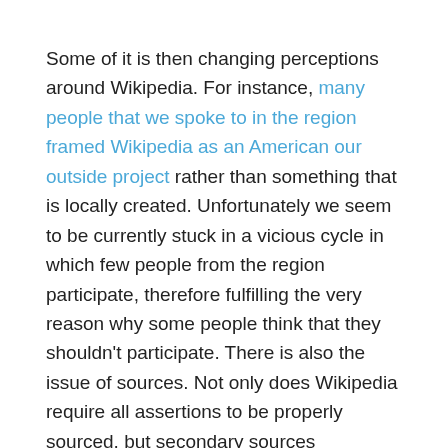Some of it is then changing perceptions around Wikipedia. For instance, many people that we spoke to in the region framed Wikipedia as an American our outside project rather than something that is locally created. Unfortunately we seem to be currently stuck in a vicious cycle in which few people from the region participate, therefore fulfilling the very reason why some people think that they shouldn't participate. There is also the issue of sources. Not only does Wikipedia require all assertions to be properly sourced, but secondary sources themselves can be a great source of raw informational material for Wikipedia articles. However, if few sources about a place exist, then it adds an additional burden to creating content about that place. Again, a vicious cycle of geographic representation.
My hope is that by both working on some of the necessary